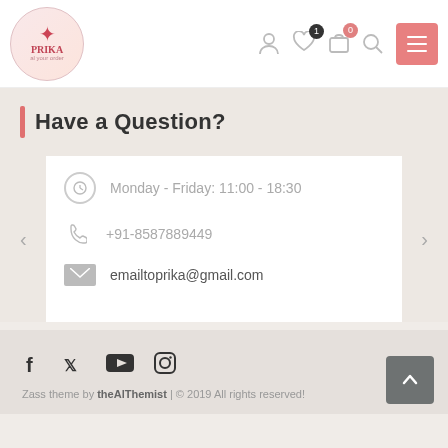[Figure (screenshot): Website header with Prika logo, navigation icons (user, wishlist with badge 1, cart with badge 0, search, menu)]
Have a Question?
Monday - Friday: 11:00 - 18:30
+91-8587889449
emailtoprika@gmail.com
Zass theme by theAlThemist | © 2019 All rights reserved!